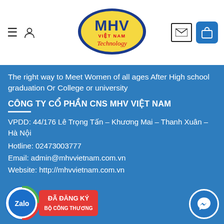MHV Việt Nam Technology — navigation header with logo, hamburger, user icon, mail icon, shopping bag icon
The right way to Meet Women of all ages After High school graduation Or College or university
CÔNG TY CỔ PHẦN CNS MHV VIỆT NAM
VPDD: 44/176 Lê Trọng Tấn – Khương Mai – Thanh Xuân – Hà Nội
Hotline: 02473003777
Email: admin@mhvvietnam.com.vn
Website: http://mhvvietnam.com.vn
[Figure (logo): Zalo badge and Đã Đăng Ký Bộ Công Thương certification badge]
[Figure (illustration): Blue circular Messenger chat button in bottom right corner]